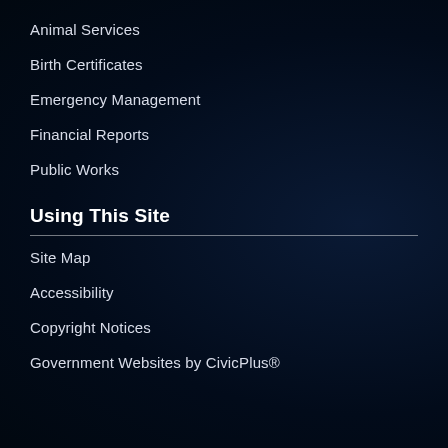Animal Services
Birth Certificates
Emergency Management
Financial Reports
Public Works
Using This Site
Site Map
Accessibility
Copyright Notices
Government Websites by CivicPlus®